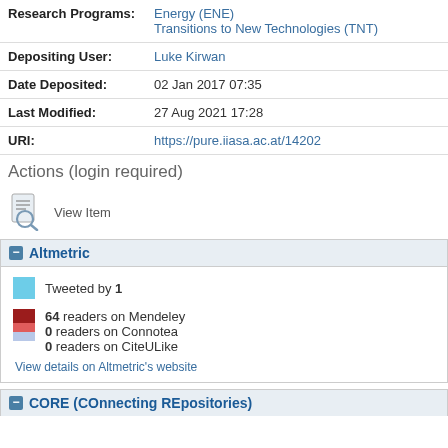| Research Programs: | Energy (ENE)
Transitions to New Technologies (TNT) |
| Depositing User: | Luke Kirwan |
| Date Deposited: | 02 Jan 2017 07:35 |
| Last Modified: | 27 Aug 2021 17:28 |
| URI: | https://pure.iiasa.ac.at/14202 |
Actions (login required)
[Figure (illustration): View Item icon showing a document with a magnifying glass]
View Item
Altmetric
Tweeted by 1
64 readers on Mendeley
0 readers on Connotea
0 readers on CiteULike
View details on Altmetric's website
CORE (COnnecting REpositories)